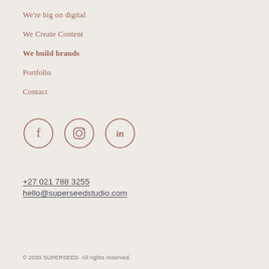We're big on digital
We Create Content
We build brands
Portfolio
Contact
[Figure (illustration): Three social media icons in circles: Facebook (f), Instagram (camera/square), LinkedIn (in)]
+27 021 788 3255
hello@superseedstudio.com
© 2020 SUPERSEED. All rights reserved.